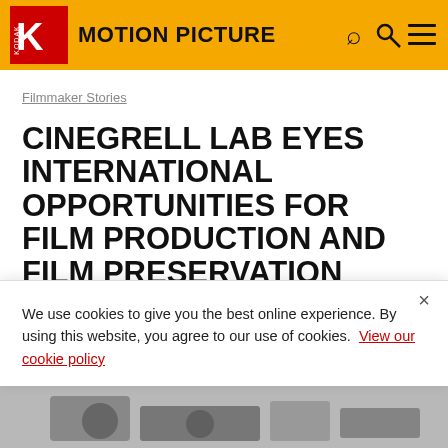MOTION PICTURE
Filmmaker Stories
CINEGRELL LAB EYES INTERNATIONAL OPPORTUNITIES FOR FILM PRODUCTION AND FILM PRESERVATION
July 18, 2018
We use cookies to give you the best online experience. By using this website, you agree to our use of cookies. View our cookie policy
[Figure (photo): Partial view of film equipment at the bottom of the page]